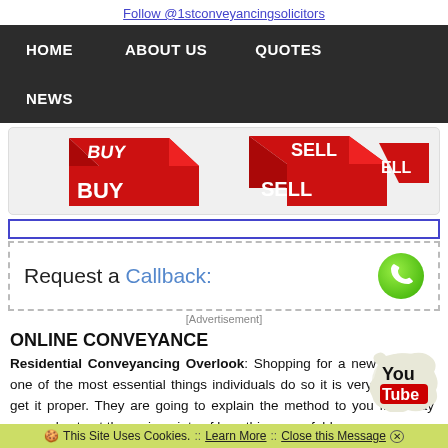Follow @1stconveyancingsolicitors
[Figure (screenshot): Dark navigation bar with menu items: HOME, ABOUT US, QUOTES, NEWS]
[Figure (photo): Red dice showing BUY BUY and SELL SELL text on a light background]
[Figure (screenshot): Request a Callback section with dashed border, blue input field, phone icon, and [Advertisement] label]
ONLINE CONVEYANCE
[Figure (logo): YouTube logo - You Tube in red and black paint splatter style]
Residential Conveyancing Overlook: Shopping for a new house is one of the most essential things individuals do so it is very important get it proper. They are going to explain the method to you from day one and set out the main points of how this can unfold
This Site Uses Cookies.  ::  Learn More  ::  Close this Message ✕